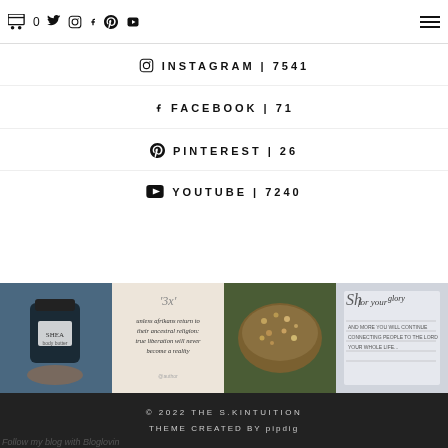🛒 0  🐦  📷  f  P  ▶   ≡
🐦 TWITTER | 402
INSTAGRAM | 7541
FACEBOOK | 71
PINTEREST | 26
YOUTUBE | 7240
[Figure (photo): Four Instagram-style photo thumbnails: 1) hand holding a SHEA product jar, 2) beige card with script text about Afrikans and ancestral religion, 3) close-up of a food dish with seeds/nuts, 4) handwritten letter or document.]
© 2022 THE S.KINTUITION
THEME CREATED BY pipdig
Follow my blog with Bloglovin